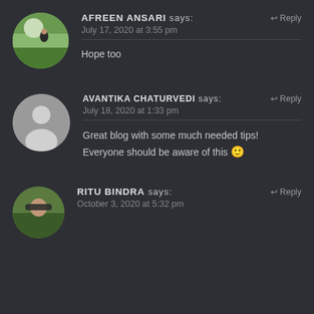AFREEN ANSARI says: July 17, 2020 at 3:55 pm — Hope too
AVANTIKA CHATURVEDI says: July 18, 2020 at 1:33 pm — Great blog with some much needed tips! Everyone should be aware of this 🙂
RITU BINDRA says: October 3, 2020 at 5:32 pm